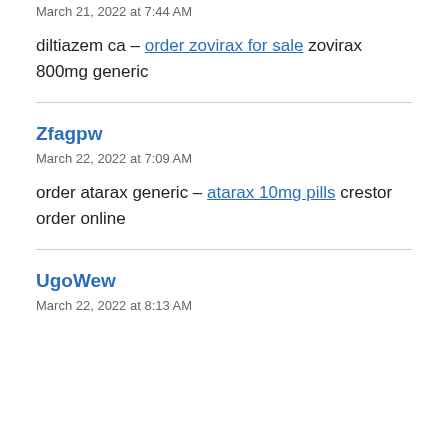March 21, 2022 at 7:44 AM
diltiazem ca – order zovirax for sale zovirax 800mg generic
Zfagpw
March 22, 2022 at 7:09 AM
order atarax generic – atarax 10mg pills crestor order online
UgoWew
March 22, 2022 at 8:13 AM